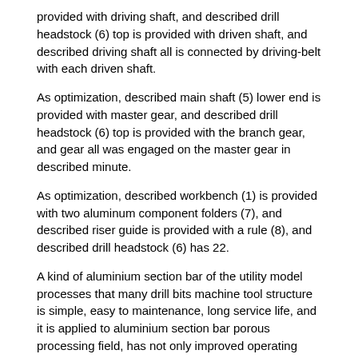provided with driving shaft, and described drill headstock (6) top is provided with driven shaft, and described driving shaft all is connected by driving-belt with each driven shaft.
As optimization, described main shaft (5) lower end is provided with master gear, and described drill headstock (6) top is provided with the branch gear, and gear all was engaged on the master gear in described minute.
As optimization, described workbench (1) is provided with two aluminum component folders (7), and described riser guide is provided with a rule (8), and described drill headstock (6) has 22.
A kind of aluminium section bar of the utility model processes that many drill bits machine tool structure is simple, easy to maintenance, long service life, and it is applied to aluminium section bar porous processing field, has not only improved operating efficiency, and has saved production cost, has reduced energy consumption.
Description of drawings
Reference numerals in the accompanying drawings of the f